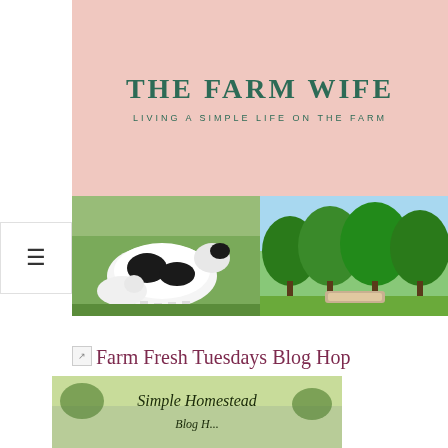[Figure (logo): The Farm Wife blog header banner with pink background, showing site title 'THE FARM WIFE' and subtitle 'LIVING A SIMPLE LIFE ON THE FARM' in dark green text]
[Figure (photo): Two farm photos side by side: left shows goats/farm animals in a field, right shows green trees/orchard scenery]
[Figure (other): Navigation hamburger menu icon (three horizontal lines) in white box on left side]
Farm Fresh Tuesdays Blog Hop
[Figure (photo): Simple Homestead Blog Hop image partially visible at bottom of page]